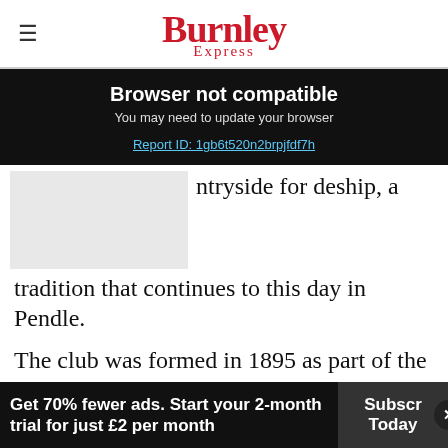[Figure (logo): Burnley Express newspaper logo in red serif font]
Browser not compatible
You may need to update your browser
Report ID: 1gb6t520n2brpjfdf7h
ntryside for deship, a tradition that continues to this day in Pendle.
The club was formed in 1895 as part of the socia
Robert Blatchford's socialist newspaper.
[Figure (screenshot): Advertisement: A smart online guard monitoring system. BUY NOW. Manage your assets online! www.qrpatrol.com]
Get 70% fewer ads. Start your 2-month trial for just £2 per month
Subscribe Today